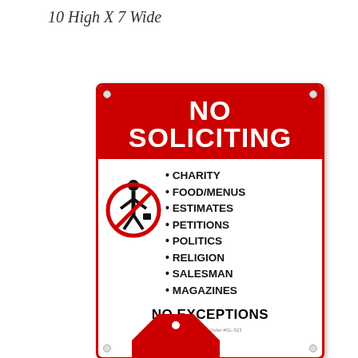10 High X 7 Wide
[Figure (photo): No Soliciting sign — red header with white bold text 'NO SOLICITING', white body with bullet list: CHARITY, FOOD/MENUS, ESTIMATES, PETITIONS, POLITICS, RELIGION, SALESMAN, MAGAZINES, and a no-entry person icon, bottom text 'NO EXCEPTIONS']
[Figure (other): Partial view of a red octagonal stop-style sign at bottom of image]